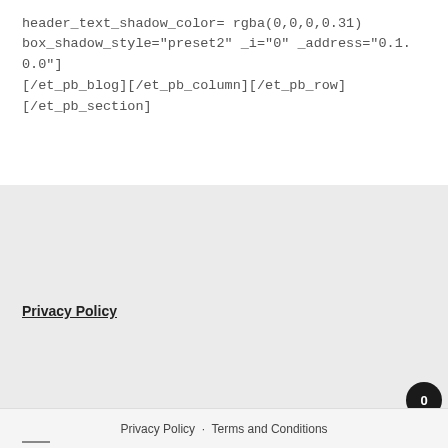header_text_shadow_color=rgba(0,0,0,0.31) box_shadow_style="preset2" _i="0" _address="0.1.0.0"][/et_pb_blog][/et_pb_column][/et_pb_row][/et_pb_section]
Privacy Policy
Privacy Policy  ·  Terms and Conditions